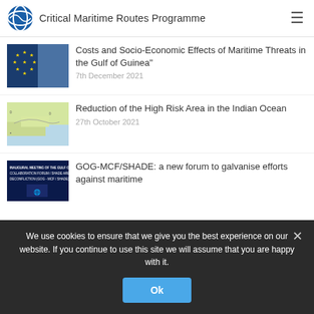Critical Maritime Routes Programme
[Figure (screenshot): EU flag thumbnail image for article about Maritime Threats in the Gulf of Guinea]
Costs and Socio-Economic Effects of Maritime Threats in the Gulf of Guinea"
7th December 2021
[Figure (map): Map thumbnail showing the Indian Ocean / High Risk Area region]
Reduction of the High Risk Area in the Indian Ocean
27th October 2021
[Figure (screenshot): Dark blue thumbnail showing text: INAUGURAL MEETING OF THE GULF OF GUINEA COLLABORATION FORUM / SHADE AREA DECONFLICTION (GOG-MCF/SHADE)]
GOG-MCF/SHADE: a new forum to galvanise efforts against maritime
We use cookies to ensure that we give you the best experience on our website. If you continue to use this site we will assume that you are happy with it.
Ok